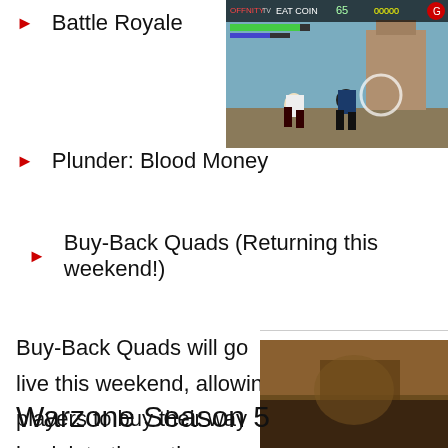Battle Royale
[Figure (screenshot): Screenshot of a fighting video game with a HUD showing health bars and score]
Plunder: Blood Money
Buy-Back Quads (Returning this weekend!)
Buy-Back Quads will go live this weekend, allowing players to buy their way back into the action, provided they had enough cash in their inventory when they died. Should make for a fun Saturday!
[Figure (photo): Dark blurry photo related to VLK Rogue Warzone Loadout article]
Best VLK Rogue Warzone Loadout...
READ MORE
Warzone Season 5